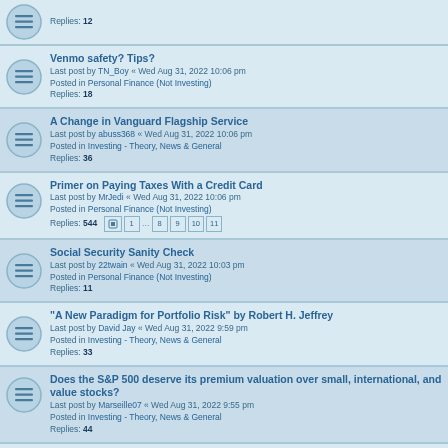Replies: 12
Venmo safety? Tips?
Last post by TN_Boy « Wed Aug 31, 2022 10:06 pm
Posted in Personal Finance (Not Investing)
Replies: 18
A Change in Vanguard Flagship Service
Last post by abuss368 « Wed Aug 31, 2022 10:06 pm
Posted in Investing - Theory, News & General
Replies: 36
Primer on Paying Taxes With a Credit Card
Last post by MrJedi « Wed Aug 31, 2022 10:06 pm
Posted in Personal Finance (Not Investing)
Replies: 544
Pages: 1 ... 8 9 10 11
Social Security Sanity Check
Last post by 22twain « Wed Aug 31, 2022 10:03 pm
Posted in Personal Finance (Not Investing)
Replies: 11
"A New Paradigm for Portfolio Risk" by Robert H. Jeffrey
Last post by David Jay « Wed Aug 31, 2022 9:59 pm
Posted in Investing - Theory, News & General
Replies: 33
Does the S&P 500 deserve its premium valuation over small, international, and value stocks?
Last post by Marseille07 « Wed Aug 31, 2022 9:55 pm
Posted in Investing - Theory, News & General
Replies: 44
How much does it cost to run a 10 gallon electric water heater in a RV. Did it provide enough hot water for you?
Last post by ...